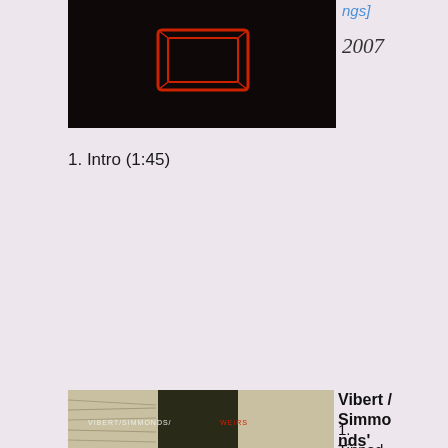[Figure (photo): Partial album cover photo showing a dark background with a red object (box/cassette), cropped at top]
ngs]
2007
1. Intro (1:45)
[Figure (photo): Album cover for Vibert/Simmonds' Weirs on Rephlex (1993), showing close-up texture of grass/moss/straw with text VIBERT/SIMMONDS/WEIRS]
Vibert / Simmonds' Weirs [Rephlex] 1993
1. Tinned Teardro...